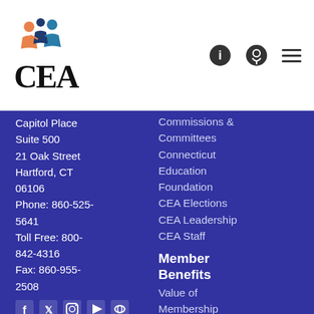[Figure (logo): CEA logo — three colorful figures above large serif text 'CEA']
Commissions & Committees
Connecticut Education Foundation
CEA Elections
CEA Leadership
CEA Staff
Capitol Place Suite 500
21 Oak Street
Hartford, CT 06106
Phone: 860-525-5641
Toll Free: 800-842-4316
Fax: 860-955-2508
[Figure (illustration): Social media icons: Facebook, Twitter, Instagram, YouTube, Flickr]
Resources
Professional
Member Benefits
Value of Membership
Teacher Discounts
News and Events